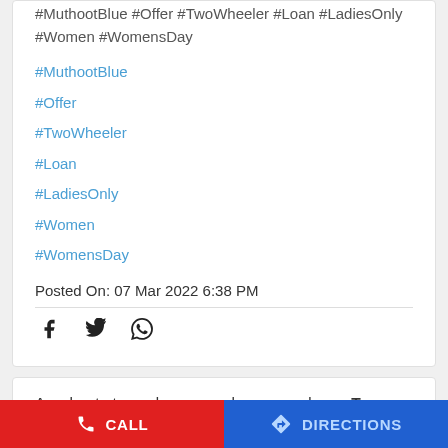#MuthootBlue #Offer #TwoWheeler #Loan #LadiesOnly #Women #WomensDay
#MuthootBlue
#Offer
#TwoWheeler
#Loan
#LadiesOnly
#Women
#WomensDay
Posted On: 07 Mar 2022 6:38 PM
Accelerate towards your goals on your dream Two